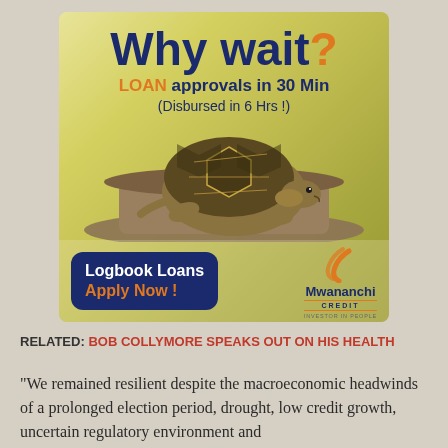[Figure (illustration): Advertisement for Mwananchi Credit logbook loans. Shows a tortoise on a rock against a yellow-green blurred background. Text reads: 'Why wait? LOAN approvals in 30 Min (Disbursed in 6 Hrs !) Logbook Loans Apply Now! Mwananchi CREDIT INVESTOR IN PEOPLE']
RELATED: BOB COLLYMORE SPEAKS OUT ON HIS HEALTH
“We remained resilient despite the macroeconomic headwinds of a prolonged election period, drought, low credit growth, uncertain regulatory environment and